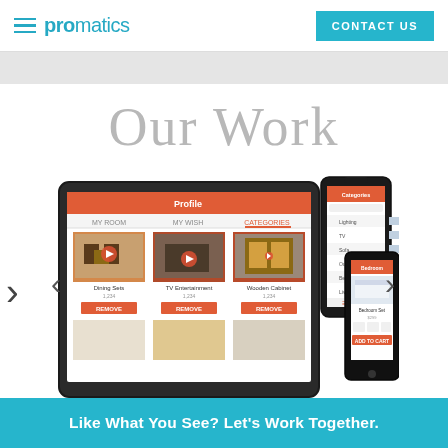promatics | CONTACT US
Our Work
[Figure (screenshot): App UI screenshots on tablet and two smartphones showing a furniture/home decor shopping app with orange header, product images, and navigation. Left arrow and right arrow carousel controls on either side.]
Like What You See? Let's Work Together.